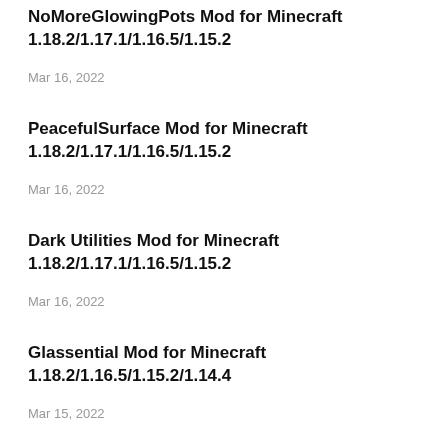NoMoreGlowingPots Mod for Minecraft 1.18.2/1.17.1/1.16.5/1.15.2
Mar 16, 2022
PeacefulSurface Mod for Minecraft 1.18.2/1.17.1/1.16.5/1.15.2
Mar 16, 2022
Dark Utilities Mod for Minecraft 1.18.2/1.17.1/1.16.5/1.15.2
Mar 16, 2022
Glassential Mod for Minecraft 1.18.2/1.16.5/1.15.2/1.14.4
Mar 15, 2022
Charm Mod for Minecraft 1.18.2/1.17.1/1.16.5/1.15.2